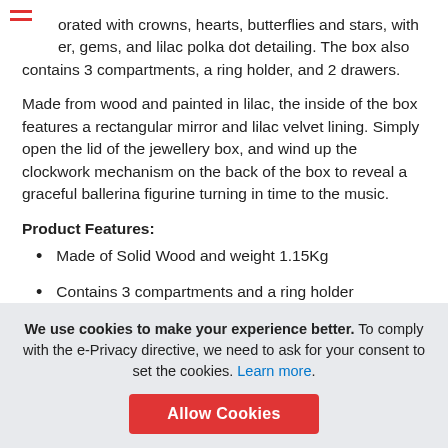orated with crowns, hearts, butterflies and stars, with er, gems, and lilac polka dot detailing. The box also contains 3 compartments, a ring holder, and 2 drawers.
Made from wood and painted in lilac, the inside of the box features a rectangular mirror and lilac velvet lining. Simply open the lid of the jewellery box, and wind up the clockwork mechanism on the back of the box to reveal a graceful ballerina figurine turning in time to the music.
Product Features:
Made of Solid Wood and weight 1.15Kg
Contains 3 compartments and a ring holder
3 drawers with violet lining
We use cookies to make your experience better. To comply with the e-Privacy directive, we need to ask for your consent to set the cookies. Learn more.
Allow Cookies